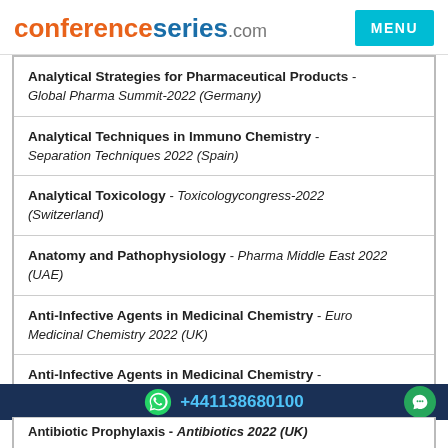conferenceseries.com MENU
Analytical Strategies for Pharmaceutical Products - Global Pharma Summit-2022 (Germany)
Analytical Techniques in Immuno Chemistry - Separation Techniques 2022 (Spain)
Analytical Toxicology - Toxicologycongress-2022 (Switzerland)
Anatomy and Pathophysiology - Pharma Middle East 2022 (UAE)
Anti-Infective Agents in Medicinal Chemistry - Euro Medicinal Chemistry 2022 (UK)
Anti-Infective Agents in Medicinal Chemistry -
+44113868​0100
Antibiotic Prophylaxis - Antibiotics 2022 (UK)